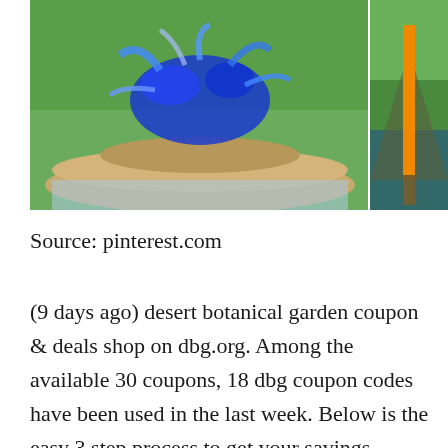[Figure (photo): Two side-by-side photos of glass art sculptures in botanical garden settings. Left: large blue swirling glass sculpture on a round fountain with water cascading down. Right: tall orange/yellow glass tower sculpture reflected in a still pond surrounded by green trees.]
Source: pinterest.com
(9 days ago) desert botanical garden coupon & deals shop on dbg.org. Among the available 30 coupons, 18 dbg coupon codes have been used in the last week. Below is the easy 3 step process to get your savings